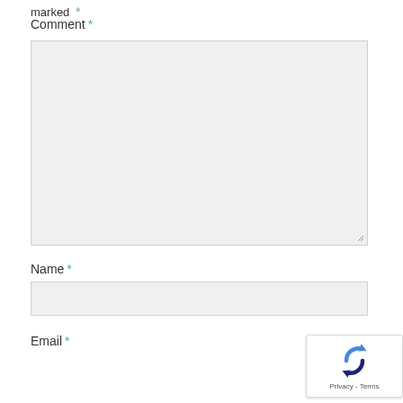marked *
Comment *
[Figure (screenshot): Large empty comment textarea input field with light gray background and resize handle in bottom-right corner]
Name *
[Figure (screenshot): Single-line name input field with light gray background]
Email *
[Figure (screenshot): reCAPTCHA badge with logo and Privacy - Terms text]